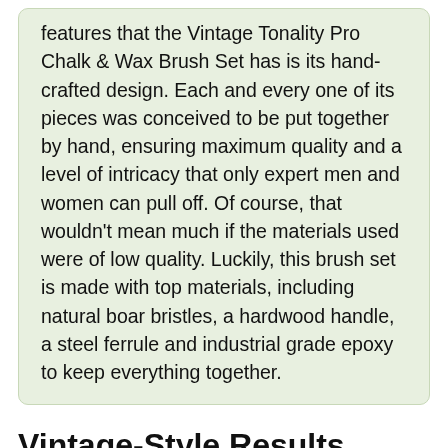features that the Vintage Tonality Pro Chalk & Wax Brush Set has is its hand-crafted design. Each and every one of its pieces was conceived to be put together by hand, ensuring maximum quality and a level of intricacy that only expert men and women can pull off. Of course, that wouldn't mean much if the materials used were of low quality. Luckily, this brush set is made with top materials, including natural boar bristles, a hardwood handle, a steel ferrule and industrial grade epoxy to keep everything together.
Vintage-Style Results
Due to their design, the bristles that these brushes feature are particularly adept at creating vintage-style results. When used correctly, they are capable of